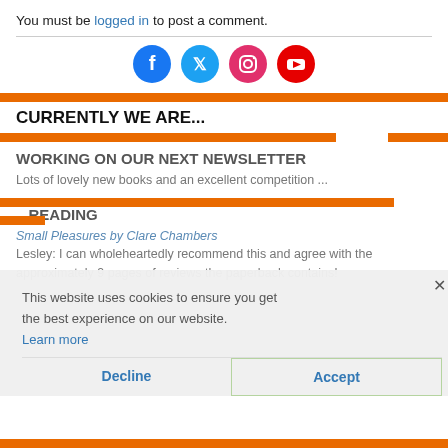You must be logged in to post a comment.
[Figure (illustration): Social media icons: Facebook (blue circle), Twitter (light blue circle), Instagram (pink/magenta circle), YouTube (red circle)]
CURRENTLY WE ARE...
WORKING ON OUR NEXT NEWSLETTER
Lots of lovely new books and an excellent competition ...
This website uses cookies to ensure you get the best experience on our website.
Learn more
...READING
Small Pleasures by Clare Chambers
Lesley: I can wholeheartedly recommend this and agree with the approximately 9 pages of reviews the paperback contains!